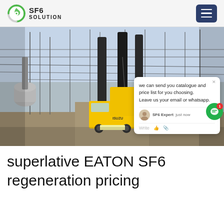[Figure (logo): SF6 Solution logo with circular green icon]
[Figure (photo): Electrical substation with a yellow ISUZU truck and high-voltage equipment. Chat popup overlay on right side reading: 'we can send you catalogue and price list for you choosing. Leave us your email or whatsapp.' SF6 Expert just now. Write area at bottom.]
superlative EATON SF6 regeneration pricing